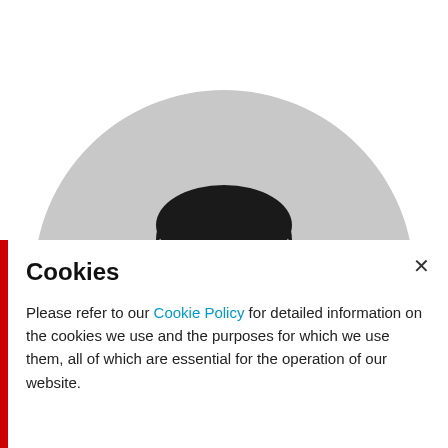[Figure (photo): Black and white photograph of a man's head and shoulders, partially obscured by a cookie consent banner. A large grey circle serves as background behind the figure. The top portion shows the man's dark hair and face, the bottom portion shows his shoulders in a suit jacket.]
Cookies
Please refer to our Cookie Policy for detailed information on the cookies we use and the purposes for which we use them, all of which are essential for the operation of our website.